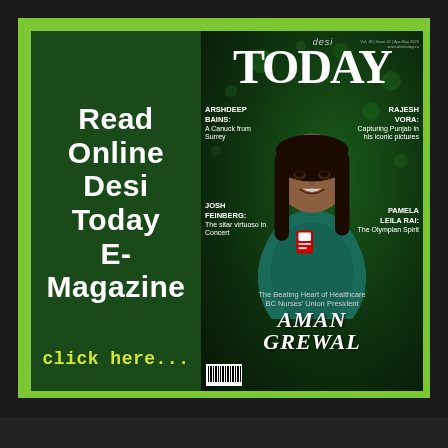[Figure (illustration): Advertisement for Desi Today E-Magazine. Left dark green panel with white bold text 'Read Online Desi Today E-Magazine' and yellow 'click here...' below. Right panel shows the magazine cover of 'desi TODAY' featuring Aman Grewal (BC Nurses' Union President) with article teasers about Arshdeep Bains, Josh Feinberg, Rajesh Vora, and Pamela Leila Rai. Green border frame surrounds the entire ad.]